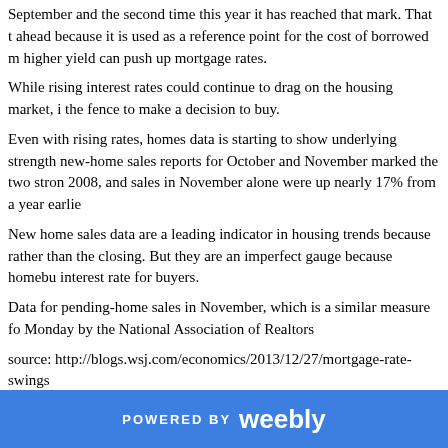September and the second time this year it has reached that mark. That t ahead because it is used as a reference point for the cost of borrowed m higher yield can push up mortgage rates.
While rising interest rates could continue to drag on the housing market, i the fence to make a decision to buy.
Even with rising rates, homes data is starting to show underlying strength new-home sales reports for October and November marked the two stro 2008, and sales in November alone were up nearly 17% from a year earlie
New home sales data are a leading indicator in housing trends because rather than the closing. But they are an imperfect gauge because homebu interest rate for buyers.
Data for pending-home sales in November, which is a similar measure fo Monday by the National Association of Realtors
source: http://blogs.wsj.com/economics/2013/12/27/mortgage-rate-swings Follow me:
POWERED BY weebly